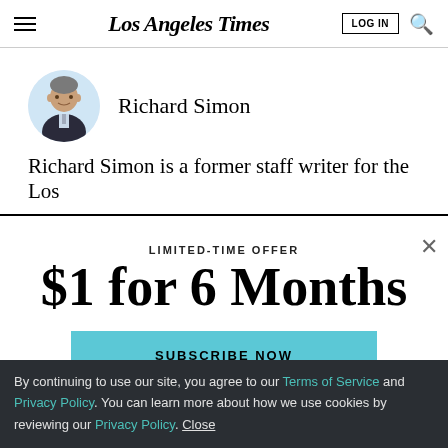Los Angeles Times
[Figure (photo): Circular headshot of Richard Simon, a man in a dark suit with gray hair, against a light blue background.]
Richard Simon
Richard Simon is a former staff writer for the Los
LIMITED-TIME OFFER
$1 for 6 Months
SUBSCRIBE NOW
By continuing to use our site, you agree to our Terms of Service and Privacy Policy. You can learn more about how we use cookies by reviewing our Privacy Policy. Close